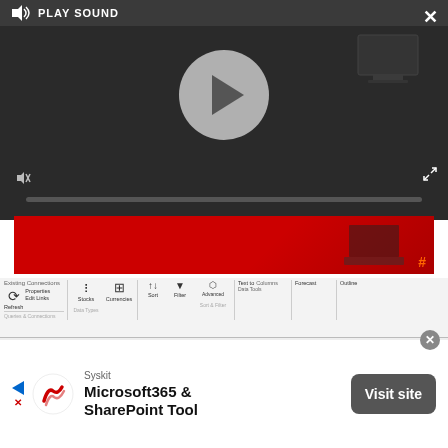[Figure (screenshot): Video player overlay with PLAY SOUND label, play button circle, mute icon, progress bar, and close X button on dark background]
[Figure (screenshot): Red banner advertisement with keyboard/computer imagery and hash symbol]
[Figure (screenshot): Microsoft Excel ribbon toolbar showing Data tab options]
[Figure (screenshot): Excel spreadsheet showing VALUES and Mov. Ave. columns with data: 1000, 1750, 1600, 2500, 3200, 1400, 2000, 1500, and a Moving Average dialog box with Input Range, Interval, Output Range, Chart Output and Standard Errors checkboxes]
[Figure (screenshot): Advertisement banner for Syskit Microsoft365 & SharePoint Tool with Visit site button]